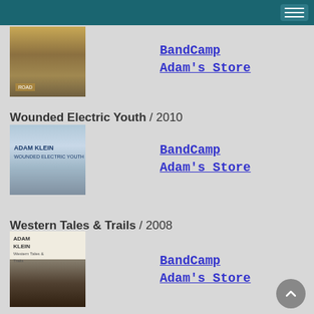[Figure (photo): Album cover image - desert road scene]
BandCamp
Adam's Store
Wounded Electric Youth / 2010
[Figure (photo): Album cover - Adam Klein Wounded Electric Youth]
BandCamp
Adam's Store
Western Tales & Trails / 2008
[Figure (photo): Album cover - Western Tales & Trails with tracklist and Native American riders photo]
BandCamp
Adam's Store